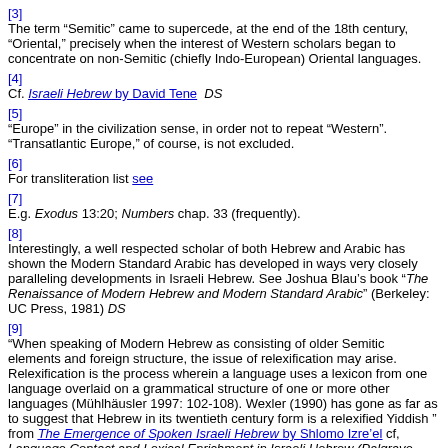[3] The term “Semitic” came to supercede, at the end of the 18th century, “Oriental,” precisely when the interest of Western scholars began to concentrate on non-Semitic (chiefly Indo-European) Oriental languages.
[4] Cf. Israeli Hebrew by David Tene  DS
[5] “Europe” in the civilization sense, in order not to repeat “Western”. “Transatlantic Europe,” of course, is not excluded.
[6] For transliteration list see
[7] E.g. Exodus 13:20; Numbers chap. 33 (frequently).
[8] Interestingly, a well respected scholar of both Hebrew and Arabic has shown the Modern Standard Arabic has developed in ways very closely paralleling developments in Israeli Hebrew. See Joshua Blau’s book “The Renaissance of Modern Hebrew and Modern Standard Arabic” (Berkeley: UC Press, 1981) DS
[9] “When speaking of Modern Hebrew as consisting of older Semitic elements and foreign structure, the issue of relexification may arise. Relexification is the process wherein a language uses a lexicon from one language overlaid on a grammatical structure of one or more other languages (Mühlhäusler 1997: 102-108). Wexler (1990) has gone as far as to suggest that Hebrew in its twentieth century form is a relexified Yiddish ” from The Emergence of Spoken Israeli Hebrew by Shlomo Izre’el cf, Language Contact and Lexical Enrichment in Israeli Hebrew (Palgrave Studies in Language History and Language Change) by